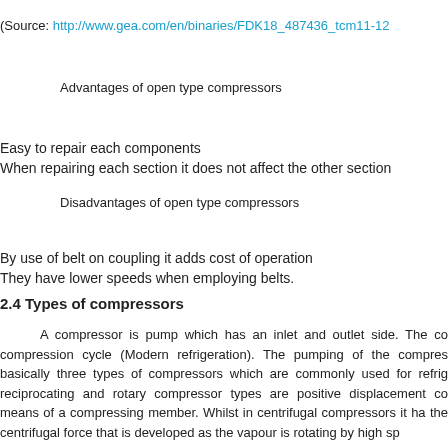(Source: http://www.gea.com/en/binaries/FDK18_487436_tcm11-12…)
Advantages of open type compressors
Easy to repair each components
When repairing each section it does not affect the other section
Disadvantages of open type compressors
By use of belt on coupling it adds cost of operation
They have lower speeds when employing belts.
2.4 Types of compressors
A compressor is pump which has an inlet and outlet side. The co compression cycle (Modern refrigeration). The pumping of the compres basically three types of compressors which are commonly used for refrig reciprocating and rotary compressor types are positive displacement co means of a compressing member. Whilst in centrifugal compressors it ha the centrifugal force that is developed as the vapour is rotating by high sp